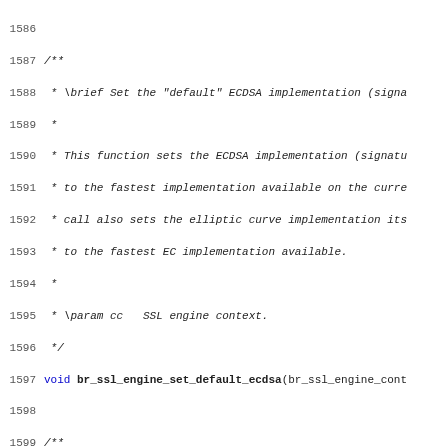Source code listing lines 1586-1618 showing C documentation comments and function declarations for ECDSA and I/O buffer SSL engine functions.